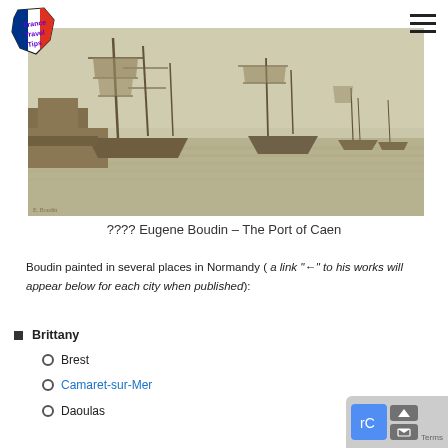France Travel Tips logo and navigation menu
[Figure (photo): Sepia-toned painting of a harbor scene with tall sailing ships docked at a port, misty atmosphere, Eugene Boudin – The Port of Caen]
???? Eugene Boudin – The Port of Caen
Boudin painted in several places in Normandy ( a link "←" to his works will appear below for each city when published):
Brittany
Brest
Camaret-sur-Mer
Daoulas